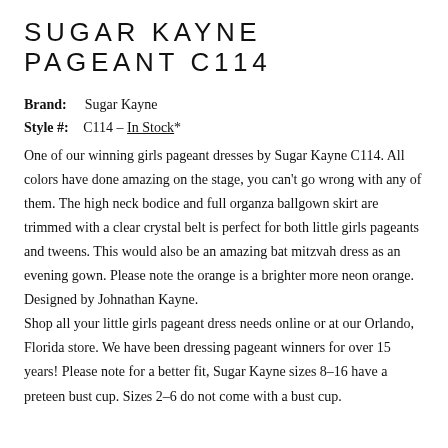SUGAR KAYNE PAGEANT C114
Brand:    Sugar Kayne
Style #:   C114 – In Stock*
One of our winning girls pageant dresses by Sugar Kayne C114. All colors have done amazing on the stage, you can't go wrong with any of them. The high neck bodice and full organza ballgown skirt are trimmed with a clear crystal belt is perfect for both little girls pageants and tweens. This would also be an amazing bat mitzvah dress as an evening gown. Please note the orange is a brighter more neon orange. Designed by Johnathan Kayne.
Shop all your little girls pageant dress needs online or at our Orlando, Florida store. We have been dressing pageant winners for over 15 years! Please note for a better fit, Sugar Kayne sizes 8-16 have a preteen bust cup. Sizes 2-6 do not come with a bust cup.